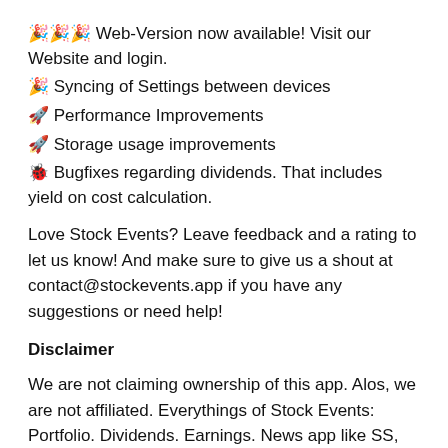🎉🎉🎉 Web-Version now available! Visit our Website and login.
🎉 Syncing of Settings between devices
🚀 Performance Improvements
🚀 Storage usage improvements
🐞 Bugfixes regarding dividends. That includes yield on cost calculation.
Love Stock Events? Leave feedback and a rating to let us know! And make sure to give us a shout at contact@stockevents.app if you have any suggestions or need help!
Disclaimer
We are not claiming ownership of this app. Alos, we are not affiliated. Everythings of Stock Events: Portfolio. Dividends. Earnings. News app like SS, logo and trademarks etc are not our property